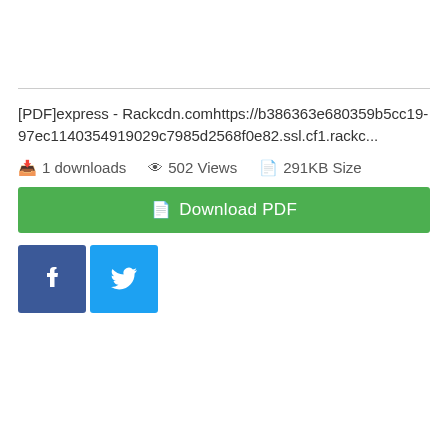[PDF]express - Rackcdn.comhttps://b386363e680359b5cc19-97ec1140354919029c7985d2568f0e82.ssl.cf1.rackc...
1 downloads   502 Views   291KB Size
Download PDF
[Figure (other): Facebook and Twitter social share buttons]